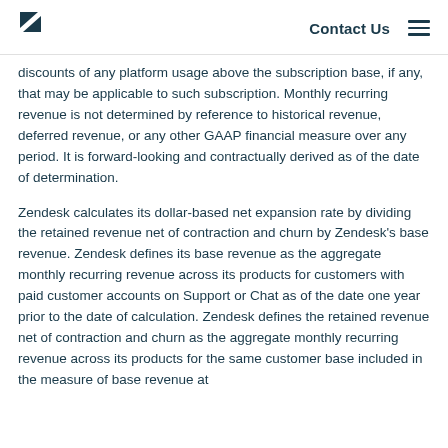Zendesk | Contact Us
discounts of any platform usage above the subscription base, if any, that may be applicable to such subscription. Monthly recurring revenue is not determined by reference to historical revenue, deferred revenue, or any other GAAP financial measure over any period. It is forward-looking and contractually derived as of the date of determination.
Zendesk calculates its dollar-based net expansion rate by dividing the retained revenue net of contraction and churn by Zendesk’s base revenue. Zendesk defines its base revenue as the aggregate monthly recurring revenue across its products for customers with paid customer accounts on Support or Chat as of the date one year prior to the date of calculation. Zendesk defines the retained revenue net of contraction and churn as the aggregate monthly recurring revenue across its products for the same customer base included in the measure of base revenue at